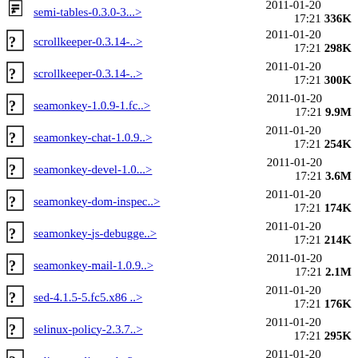semi-tables-0.3.0-3...> 2011-01-20 17:21 336K
scrollkeeper-0.3.14-..> 2011-01-20 17:21 298K
scrollkeeper-0.3.14-..> 2011-01-20 17:21 300K
seamonkey-1.0.9-1.fc..> 2011-01-20 17:21 9.9M
seamonkey-chat-1.0.9..> 2011-01-20 17:21 254K
seamonkey-devel-1.0...> 2011-01-20 17:21 3.6M
seamonkey-dom-inspec..> 2011-01-20 17:21 174K
seamonkey-js-debugge..> 2011-01-20 17:21 214K
seamonkey-mail-1.0.9..> 2011-01-20 17:21 2.1M
sed-4.1.5-5.fc5.x86 ..> 2011-01-20 17:21 176K
selinux-policy-2.3.7..> 2011-01-20 17:21 295K
selinux-policy-mls-2..> 2011-01-20 17:21 635K